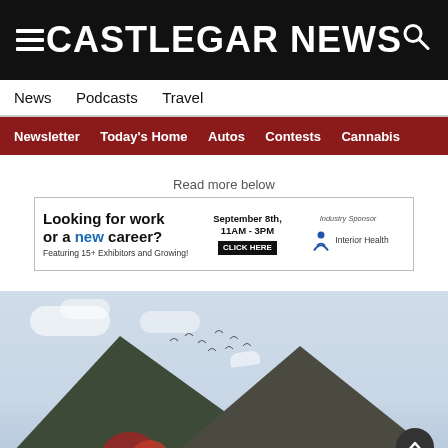CASTLEGAR NEWS
News  Podcasts  Travel
Newsletter  Today's Home  Autos  Contests  Cannabis
Read more below
[Figure (screenshot): Advertisement banner: Looking for work or a new career? Featuring 15+ Exhibitors and Growing! September 8th, 11AM–3PM. CLICK HERE. Industry Sponsor: Interior Health]
[Figure (photo): Mountain landscape with forested peaks, autumn foliage, and birds flying against a light sky]
[Figure (screenshot): Advertisement banner: Lakeside Park Harvest Market Nelson]